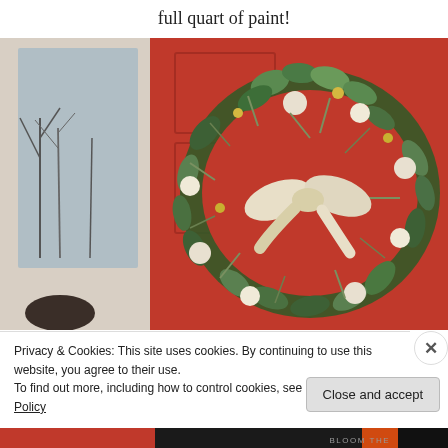full quart of paint!
[Figure (photo): A green wreath with white flowers and a cream bow hanging on a bright red door, with a window and bare trees visible on the left side.]
Privacy & Cookies: This site uses cookies. By continuing to use this website, you agree to their use.
To find out more, including how to control cookies, see here: Cookie Policy
Close and accept